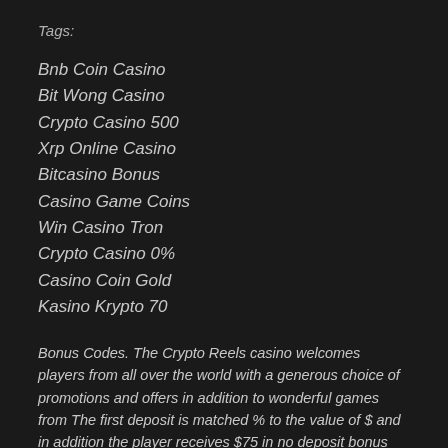Tags:
Bnb Coin Casino
Bit Wong Casino
Crypto Casino 500
Xrp Online Casino
Bitcasino Bonus
Casino Game Coins
Win Casino Tron
Crypto Casino 0%
Casino Coin Gold
Kasino Krypto 70
Bonus Codes. The Crypto Reels casino welcomes players from all over the world with a generous choice of promotions and offers in addition to wonderful games from The first deposit is matched % to the value of $ and in addition the player receives $75 in no deposit bonus free chips Bonus codes: die besten bonus codes [current_date format='y' code eingeben & casino bonus sichern jetzt bonus codes holen. Get the latest crypto reels bonus and